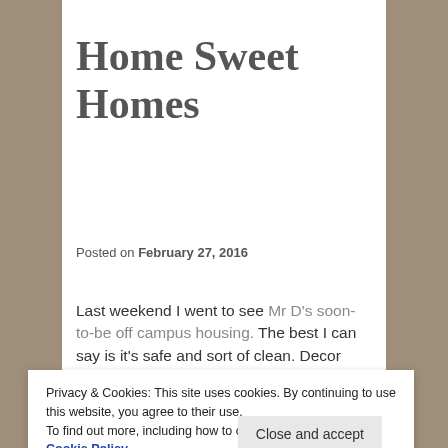Home Sweet Homes
Posted on February 27, 2016
Last weekend I went to see Mr D's soon-to-be off campus housing. The best I can say is it's safe and sort of clean. Decor wise, think '70s basement rec-room: drop ceilings, vinyl floors and lots of wood paneling. It's pretty much perfect for a bunch of 20 year old boys.
Privacy & Cookies: This site uses cookies. By continuing to use this website, you agree to their use. To find out more, including how to control cookies, see here: Cookie Policy
Close and accept